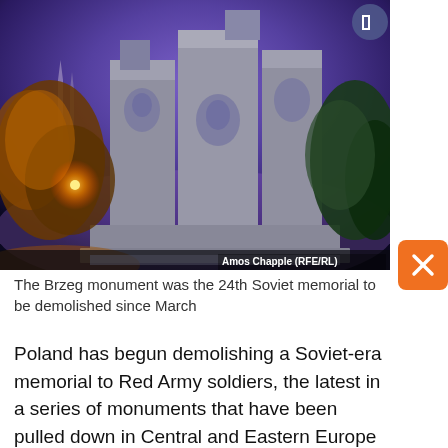[Figure (photo): Night photograph of the Brzeg Soviet-era monument — large stone sculptural blocks with carved faces, lit from below against a purple twilight sky. Trees with orange-lit foliage visible on the left, green trees on the right. Church spires visible in background on the left.]
The Brzeg monument was the 24th Soviet memorial to be demolished since March
Poland has begun demolishing a Soviet-era memorial to Red Army soldiers, the latest in a series of monuments that have been pulled down in Central and Eastern Europe amid growing hostility toward Russia and its invasion of Ukraine.